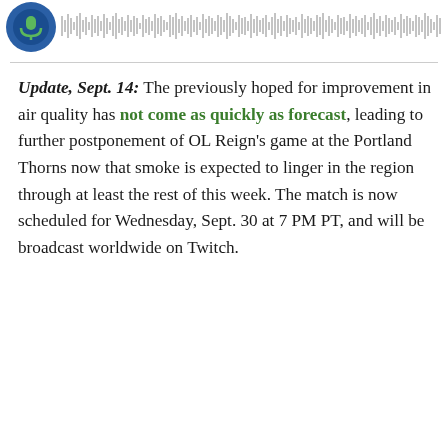[Figure (other): Podcast player header with circular logo icon (blue/green) on left and audio waveform/progress bar on right]
Update, Sept. 14: The previously hoped for improvement in air quality has not come as quickly as forecast, leading to further postponement of OL Reign's game at the Portland Thorns now that smoke is expected to linger in the region through at least the rest of this week. The match is now scheduled for Wednesday, Sept. 30 at 7 PM PT, and will be broadcast worldwide on Twitch.